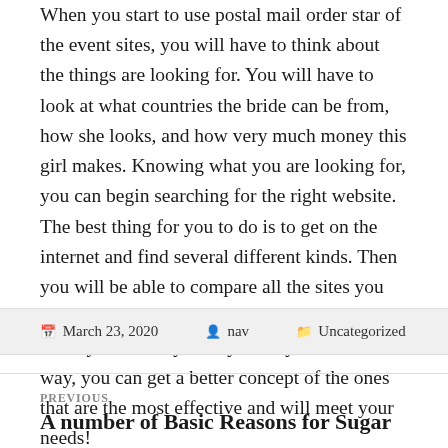When you start to use postal mail order star of the event sites, you will have to think about the things are looking for. You will have to look at what countries the bride can be from, how she looks, and how very much money this girl makes. Knowing what you are looking for, you can begin searching for the right website. The best thing for you to do is to get on the internet and find several different kinds. Then you will be able to compare all the sites you have in front of you. You may be surprised at exactly how many sites you may have. That way, you can get a better concept of the ones that are the most effective and will meet your needs!
March 23, 2020  nav  Uncategorized
PREVIOUS
A number of Basic Reasons for Sugar